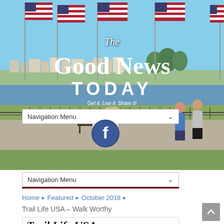[Figure (photo): Hero image of a waterfront promenade with multiple American flags flying on poles, people sitting on benches and standing, with a coastal town in the background. Overlay text reads 'The Good News TODAY' with tagline 'Get it. Live it. Share it!']
The Good News TODAY
Get it. Live it. Share it!
Navigation Menu
[Figure (logo): Facebook circular logo icon in blue]
Navigation Menu
Home ▶ Featured ▶ October 2018 ▶
Trail Life USA – Walk Worthy
Trail Life USA